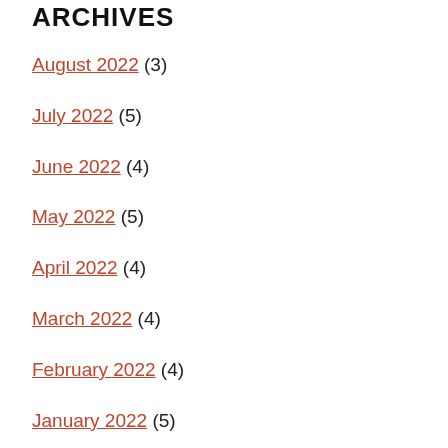ARCHIVES
August 2022 (3)
July 2022 (5)
June 2022 (4)
May 2022 (5)
April 2022 (4)
March 2022 (4)
February 2022 (4)
January 2022 (5)
December 2021 (3)
November 2021 (4)